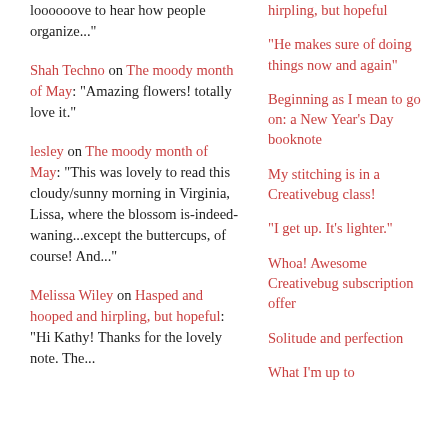loooooove to hear how people organize..."
Shah Techno on The moody month of May: "Amazing flowers! totally love it."
lesley on The moody month of May: "This was lovely to read this cloudy/sunny morning in Virginia, Lissa, where the blossom is-indeed-waning...except the buttercups, of course! And..."
Melissa Wiley on Hasped and hooped and hirpling, but hopeful: "Hi Kathy! Thanks for the lovely note. The...
hirpling, but hopeful
"He makes sure of doing things now and again"
Beginning as I mean to go on: a New Year's Day booknote
My stitching is in a Creativebug class!
"I get up. It's lighter."
Whoa! Awesome Creativebug subscription offer
Solitude and perfection
What I'm up to